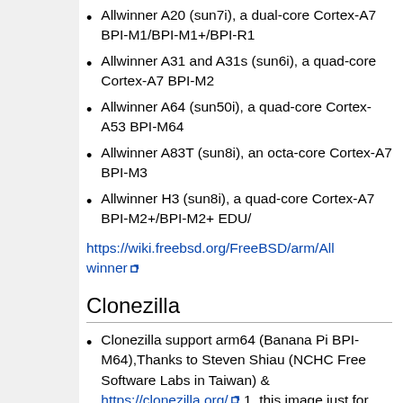Allwinner A20 (sun7i), a dual-core Cortex-A7 BPI-M1/BPI-M1+/BPI-R1
Allwinner A31 and A31s (sun6i), a quad-core Cortex-A7 BPI-M2
Allwinner A64 (sun50i), a quad-core Cortex-A53 BPI-M64
Allwinner A83T (sun8i), an octa-core Cortex-A7 BPI-M3
Allwinner H3 (sun8i), a quad-core Cortex-A7 BPI-M2+/BPI-M2+ EDU/
https://wiki.freebsd.org/FreeBSD/arm/Allwinner
Clonezilla
Clonezilla support arm64 (Banana Pi BPI-M64),Thanks to Steven Shiau (NCHC Free Software Labs in Taiwan) & https://clonezilla.org/ 1, this image just for test .
image